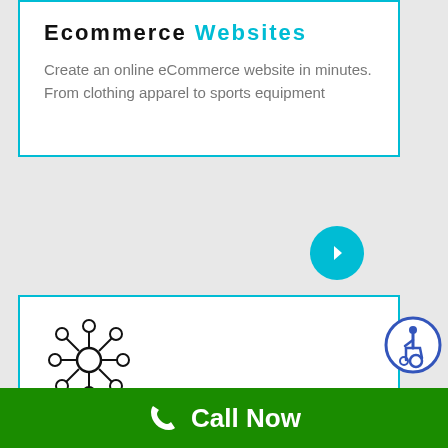Ecommerce Websites
Create an online eCommerce website in minutes. From clothing apparel to sports equipment
[Figure (illustration): Network/hub icon with central circle and connected nodes]
Networking
Our Buzz-o-Biz consultants will help you with your office's wireless and wired network solutions
Call Now